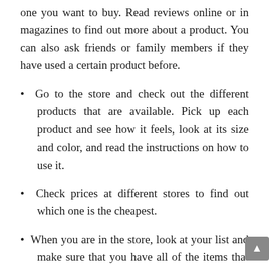one you want to buy. Read reviews online or in magazines to find out more about a product. You can also ask friends or family members if they have used a certain product before.
Go to the store and check out the different products that are available. Pick up each product and see how it feels, look at its size and color, and read the instructions on how to use it.
Check prices at different stores to find out which one is the cheapest.
When you are in the store, look at your list and make sure that you have all of the items that you need. If there is something missing, go back to